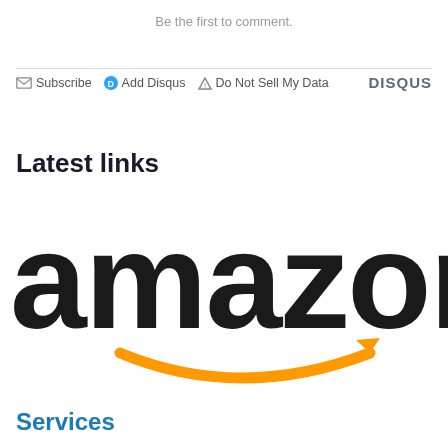Be the first to comment.
✉ Subscribe  ⓓ Add Disqus  ⚠ Do Not Sell My Data   DISQUS
Latest links
[Figure (logo): Amazon logo with black lowercase 'amazon' text and orange arrow smile beneath]
Services